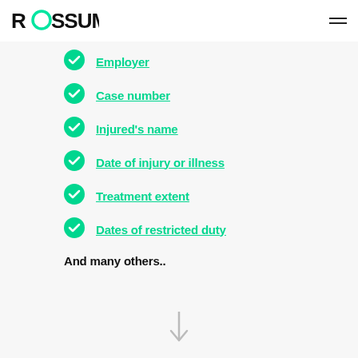ROSSUM
Employer
Case number
Injured's name
Date of injury or illness
Treatment extent
Dates of restricted duty
And many others..